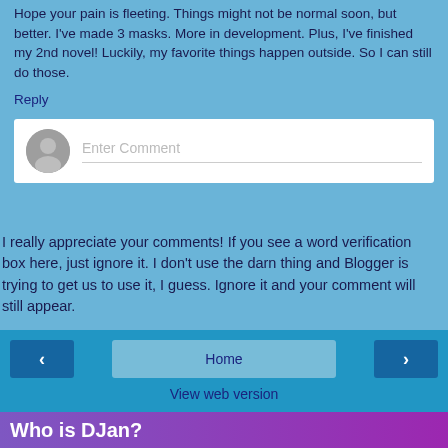Hope your pain is fleeting. Things might not be normal soon, but better. I've made 3 masks. More in development. Plus, I've finished my 2nd novel! Luckily, my favorite things happen outside. So I can still do those.
Reply
[Figure (other): Comment input box with grey avatar icon and 'Enter Comment' placeholder text]
I really appreciate your comments! If you see a word verification box here, just ignore it. I don't use the darn thing and Blogger is trying to get us to use it, I guess. Ignore it and your comment will still appear.
Home
View web version
Who is DJan?